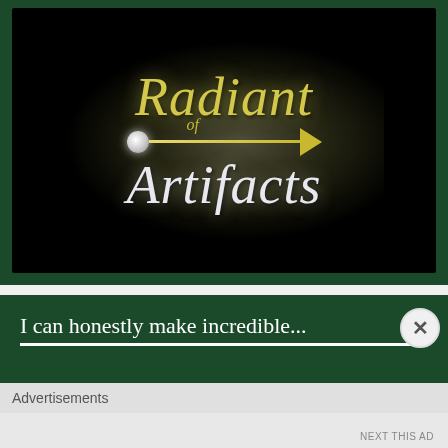[Figure (logo): Radiant Artifacts logo on a dark green background. Black panel with glowing radial light effect. Stylized cursive text reading 'Radiant of Artifacts' with a horizontal arrow (sphere on left, arrowhead on right) crossing through the design. Text in olive/gold and white tones.]
[Figure (other): Second dark green banner with white text partially visible, reading 'I can honestly make incredible...' cut off at bottom.]
Advertisements
NEXT THIS AD